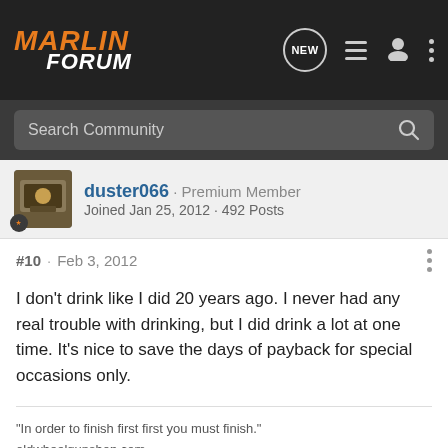MARLIN FORUM
Search Community
duster066 · Premium Member
Joined Jan 25, 2012 · 492 Posts
#10 · Feb 3, 2012
I don't drink like I did 20 years ago. I never had any real trouble with drinking, but I did drink a lot at one time. It's nice to save the days of payback for special occasions only.
"In order to finish first first you must finish."
oldwheelgunshop.com